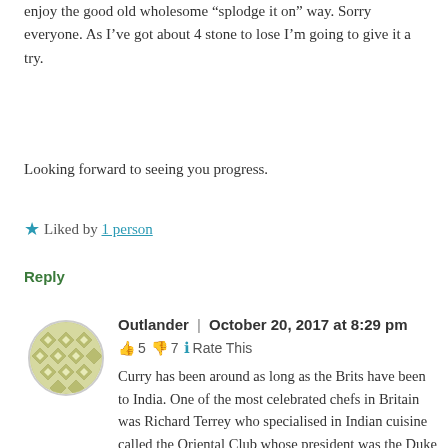enjoy the good old wholesome “splodge it on” way. Sorry everyone. As I’ve got about 4 stone to lose I’m going to give it a try.
Looking forward to seeing you progress.
★ Liked by 1 person
Reply
Outlander | October 20, 2017 at 8:29 pm
👍 5 👎 7 ℹ Rate This
Curry has been around as long as the Brits have been to India. One of the most celebrated chefs in Britain was Richard Terrey who specialised in Indian cuisine called the Oriental Club whose president was the Duke of Wellington. There is a ton of information on the internet. The Victorians loved curry but the curry powders that could be purchased by Joe Public at that time were